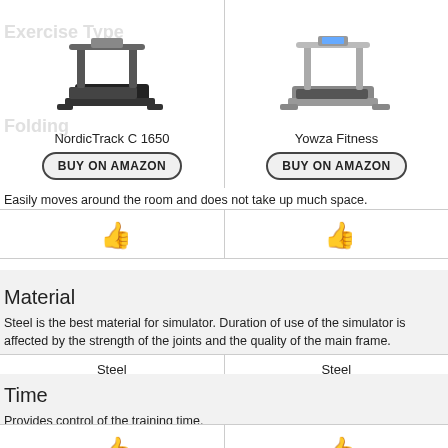[Figure (photo): NordicTrack C 1650 treadmill product image]
[Figure (photo): Yowza Fitness treadmill product image]
NordicTrack C 1650
Yowza Fitness
BUY ON AMAZON
BUY ON AMAZON
Easily moves around the room and does not take up much space.
[Figure (illustration): Green thumbs up icon]
[Figure (illustration): Green thumbs up icon]
Material
Steel is the best material for simulator. Duration of use of the simulator is affected by the strength of the joints and the quality of the main frame.
Steel
Steel
Time
Provides control of the training time.
[Figure (illustration): Green thumbs up icon]
[Figure (illustration): Green thumbs up icon]